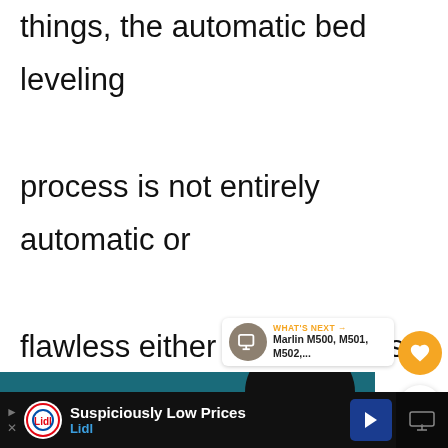things, the automatic bed leveling process is not entirely automatic or flawless either since it relies on the configuration we provide it to function correctly, which makes room for problems to occur in the case of a misconfiguration
[Figure (screenshot): UI floating action buttons: heart (orange) and share (white with shadow)]
[Figure (screenshot): WHAT'S NEXT card showing Marlin M500, M501, M502,... with circular icon]
[Figure (photo): Teal/dark background image with white heart outlines and a black cat, partially visible]
[Figure (screenshot): Advertisement banner: Lidl - Suspiciously Low Prices with navigation arrow icon]